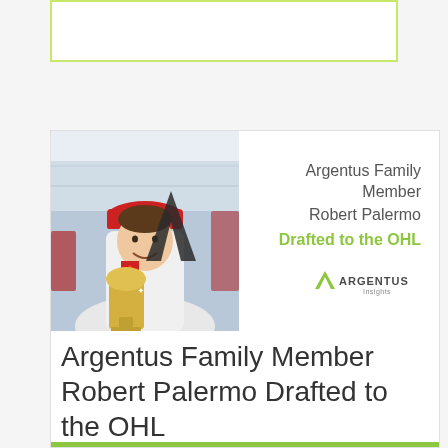[Figure (other): Empty bordered box with green outline at top of page]
[Figure (photo): Promotional card image showing a young man in a red cap and hockey jersey holding a trophy in an ice rink, with Argentus branding and text: 'Argentus Family Member Robert Palermo Drafted to the OHL' with Argentus Insights logo]
Argentus Family Member Robert Palermo Drafted to the OHL